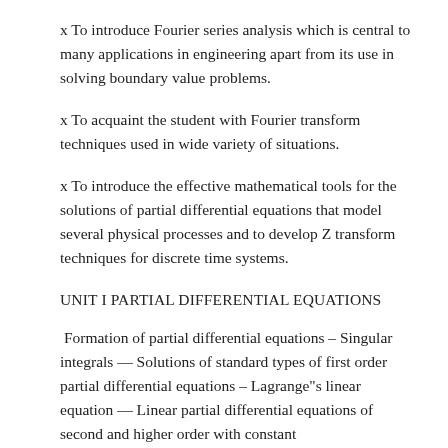x To introduce Fourier series analysis which is central to many applications in engineering apart from its use in solving boundary value problems.
x To acquaint the student with Fourier transform techniques used in wide variety of situations.
x To introduce the effective mathematical tools for the solutions of partial differential equations that model several physical processes and to develop Z transform techniques for discrete time systems.
UNIT I PARTIAL DIFFERENTIAL EQUATIONS
Formation of partial differential equations – Singular integrals — Solutions of standard types of first order partial differential equations – Lagrange"s linear equation — Linear partial differential equations of second and higher order with constant